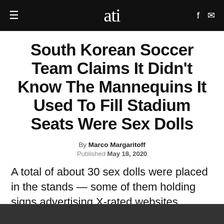ati
South Korean Soccer Team Claims It Didn't Know The Mannequins It Used To Fill Stadium Seats Were Sex Dolls
By Marco Margaritoff
Published May 18, 2020
A total of about 30 sex dolls were placed in the stands — some of them holding signs advertising X-rated websites.